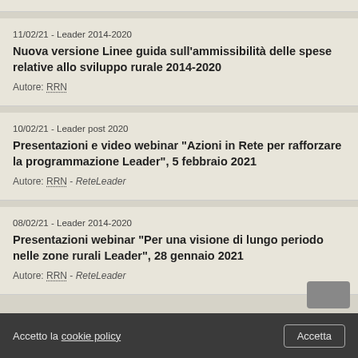11/02/21 - Leader 2014-2020
Nuova versione Linee guida sull'ammissibilità delle spese relative allo sviluppo rurale 2014-2020
Autore: RRN
10/02/21 - Leader post 2020
Presentazioni e video webinar "Azioni in Rete per rafforzare la programmazione Leader", 5 febbraio 2021
Autore: RRN - ReteLeader
08/02/21 - Leader 2014-2020
Presentazioni webinar "Per una visione di lungo periodo nelle zone rurali Leader", 28 gennaio 2021
Autore: RRN - ReteLeader
Accetto la cookie policy